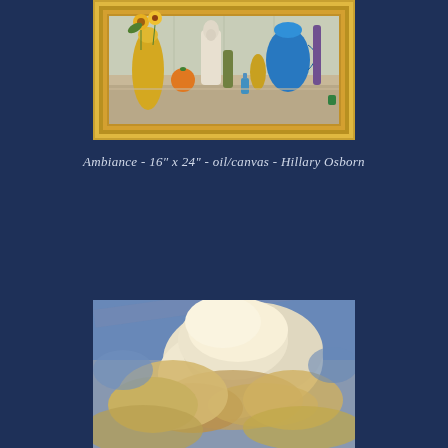[Figure (photo): Painting in gold frame: still life with sunflowers in a yellow vase, a white figurine/statue, orange, blue pitcher, and various colored vases/bottles on a shelf]
Ambiance - 16" x 24" - oil/canvas - Hillary Osborn
[Figure (photo): Painting of dramatic cumulus clouds against a blue sky with warm golden light on the cloud formations]